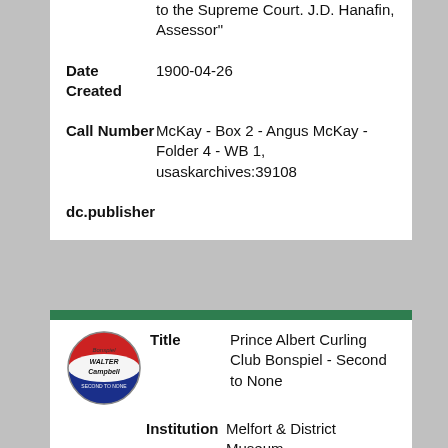to the Supreme Court. J.D. Hanafin, Assessor"
Date Created: 1900-04-26
Call Number: McKay - Box 2 - Angus McKay - Folder 4 - WB 1, usaskarchives:39108
dc.publisher
[Figure (photo): Circular curling bonspiel badge/button with red, white, and blue colors. Text reads 'Bonspiel WALTER Campbell SECOND TO NONE']
Title: Prince Albert Curling Club Bonspiel - Second to None
Institution: Melfort & District Museum